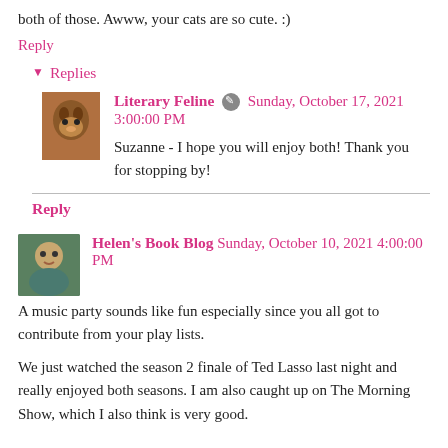both of those. Awww, your cats are so cute. :)
Reply
Replies
Literary Feline  Sunday, October 17, 2021 3:00:00 PM
Suzanne - I hope you will enjoy both! Thank you for stopping by!
Reply
Helen's Book Blog  Sunday, October 10, 2021 4:00:00 PM
A music party sounds like fun especially since you all got to contribute from your play lists.
We just watched the season 2 finale of Ted Lasso last night and really enjoyed both seasons. I am also caught up on The Morning Show, which I also think is very good.